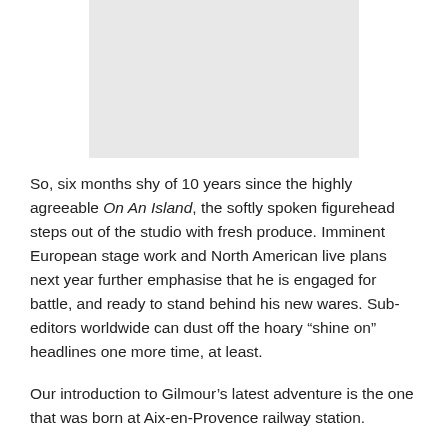[Figure (photo): Gray placeholder image block at the top of the page]
So, six months shy of 10 years since the highly agreeable On An Island, the softly spoken figurehead steps out of the studio with fresh produce. Imminent European stage work and North American live plans next year further emphasise that he is engaged for battle, and ready to stand behind his new wares. Sub-editors worldwide can dust off the hoary “shine on” headlines one more time, at least.
Our introduction to Gilmour’s latest adventure is the one that was born at Aix-en-Provence railway station.